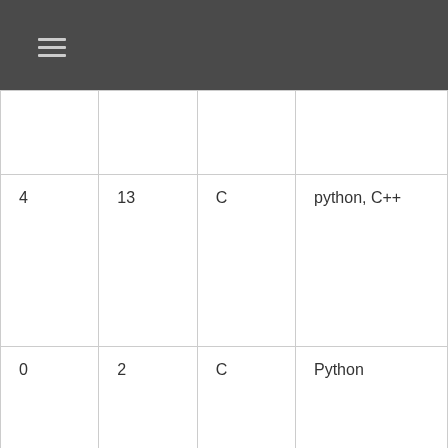|  |  |  |  |
| 4 | 13 | C | python, C++ |
| 0 | 2 | C | Python |
| 4 | 6 | C | Python, Rust |
| 2 | 10 | C/C++ | Python, Java, C#, and |